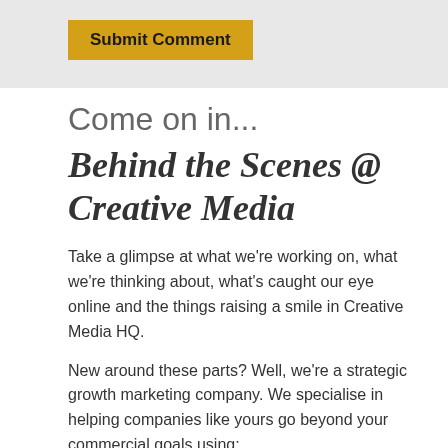[Figure (other): Yellow 'Submit Comment' button on a light grey background bar]
Come on in...
Behind the Scenes @ Creative Media
Take a glimpse at what we're working on, what we're thinking about, what's caught our eye online and the things raising a smile in Creative Media HQ.
New around these parts? Well, we're a strategic growth marketing company. We specialise in helping companies like yours go beyond your commercial goals using:
Strategy